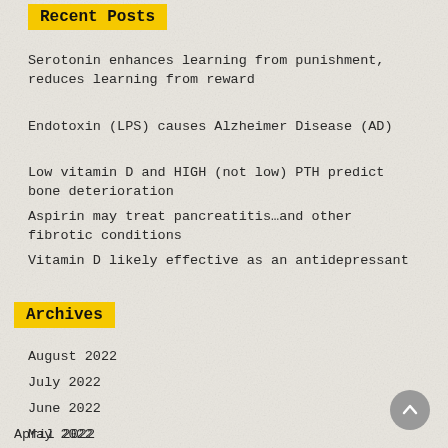Recent Posts
Serotonin enhances learning from punishment, reduces learning from reward
Endotoxin (LPS) causes Alzheimer Disease (AD)
Low vitamin D and HIGH (not low) PTH predict bone deterioration
Aspirin may treat pancreatitis…and other fibrotic conditions
Vitamin D likely effective as an antidepressant
Archives
August 2022
July 2022
June 2022
May 2022
April 2022